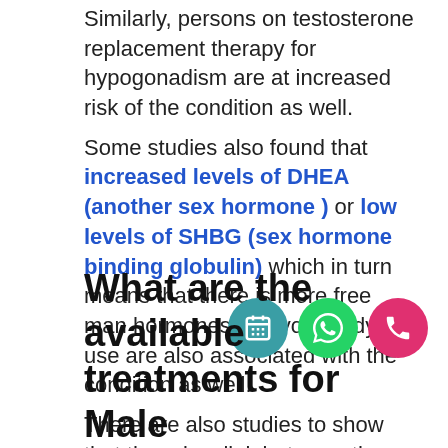Similarly, persons on testosterone replacement therapy for hypogonadism are at increased risk of the condition as well. Some studies also found that increased levels of DHEA (another sex hormone ) or low levels of SHBG (sex hormone binding globulin) which in turn means that there is more free man hormones that your body can use are also associated with the condition as well. There are also studies to show that there is a link between the condition and prostate cancer. A large Australian study suggests that loss of hair at the top of the head at age 40 may be an early marker of prostate cancer.
What are the available treatments for Male